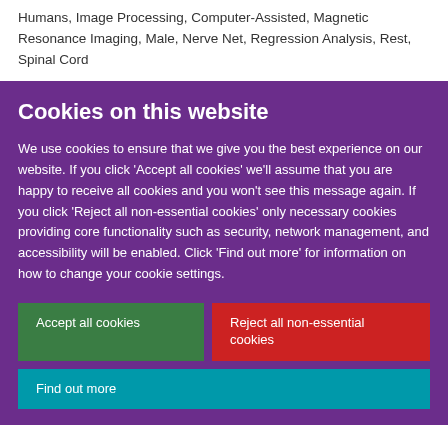Humans, Image Processing, Computer-Assisted, Magnetic Resonance Imaging, Male, Nerve Net, Regression Analysis, Rest, Spinal Cord
Cookies on this website
We use cookies to ensure that we give you the best experience on our website. If you click 'Accept all cookies' we'll assume that you are happy to receive all cookies and you won't see this message again. If you click 'Reject all non-essential cookies' only necessary cookies providing core functionality such as security, network management, and accessibility will be enabled. Click 'Find out more' for information on how to change your cookie settings.
Accept all cookies | Reject all non-essential cookies | Find out more